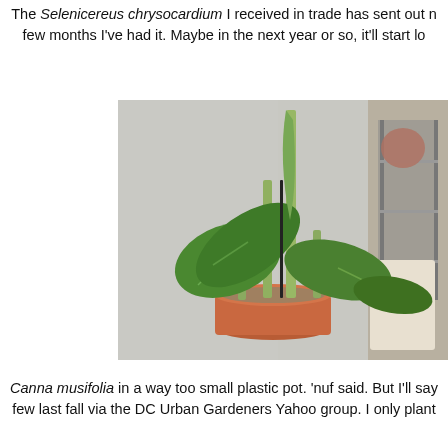The Selenicereus chrysocardium I received in trade has sent out new growth in the few months I've had it. Maybe in the next year or so, it'll start lo...
[Figure (photo): A Canna musifolia plant with large green leaves and tall upright stem growing in a terracotta pot, placed indoors against a light-colored wall.]
Canna musifolia in a way too small plastic pot. 'nuf said. But I'll say few last fall via the DC Urban Gardeners Yahoo group. I only plant...